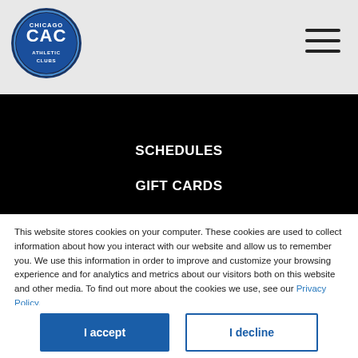[Figure (logo): CAC Chicago Athletic Clubs circular logo with blue background]
[Figure (other): Hamburger menu icon with three horizontal lines]
SCHEDULES
GIFT CARDS
CAREERS
BLOG
SUGGESTIONS
This website stores cookies on your computer. These cookies are used to collect information about how you interact with our website and allow us to remember you. We use this information in order to improve and customize your browsing experience and for analytics and metrics about our visitors both on this website and other media. To find out more about the cookies we use, see our Privacy Policy.